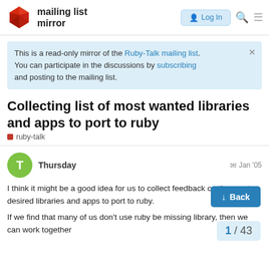mailing list mirror
This is a read-only mirror of the Ruby-Talk mailing list. You can participate in the discussions by subscribing and posting to the mailing list.
Collecting list of most wanted libraries and apps to port to ruby
ruby-talk
Thursday  Jan '05
I think it might be a good idea for us to collect feedback on the most desired libraries and apps to port to ruby.
If we find that many of us don't use ruby be missing library, then we can work together
Back
1 / 43